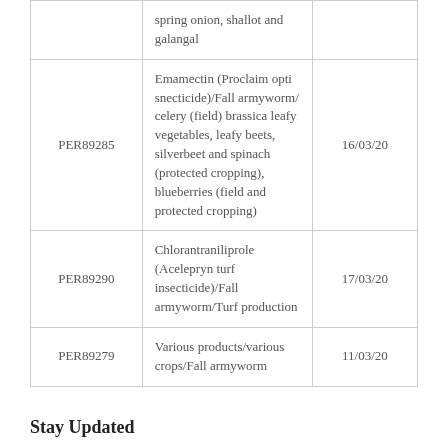|  |  |  |
| --- | --- | --- |
|  | spring onion, shallot and galangal |  |
| PER89285 | Emamectin (Proclaim opti snecticide)/Fall armyworm/ celery (field) brassica leafy vegetables, leafy beets, silverbeet and spinach (protected cropping), blueberries (field and protected cropping) | 16/03/20 |
| PER89290 | Chlorantraniliprole (Acelepryn turf insecticide)/Fall armyworm/Turf production | 17/03/20 |
| PER89279 | Various products/various crops/Fall armyworm | 11/03/20 |
Stay Updated